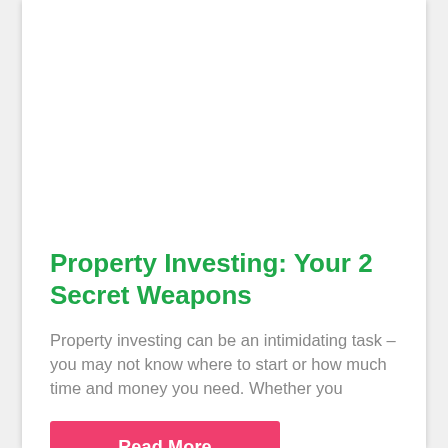Property Investing: Your 2 Secret Weapons
Property investing can be an intimidating task – you may not know where to start or how much time and money you need. Whether you
Read More